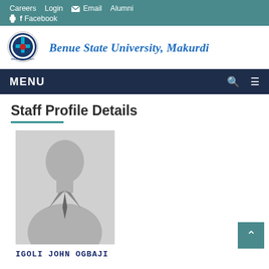Careers  Login  Email  Alumni  Facebook
[Figure (logo): Benue State University circular crest logo with blue and red design]
Benue State University, Makurdi
MENU
Staff Profile Details
[Figure (photo): Generic grey silhouette placeholder image of a person in a suit]
IGOLI JOHN OGBAJI